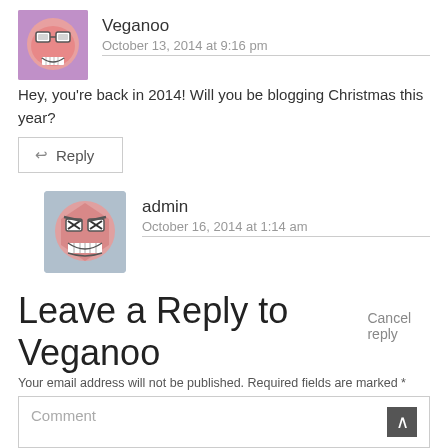Veganoo
October 13, 2014 at 9:16 pm
Hey, you're back in 2014! Will you be blogging Christmas this year?
← Reply
admin
October 16, 2014 at 1:14 am
I hope to get my butt in gear very soon yes lol.
← Reply
Leave a Reply to Veganoo  Cancel reply
Your email address will not be published. Required fields are marked *
Comment